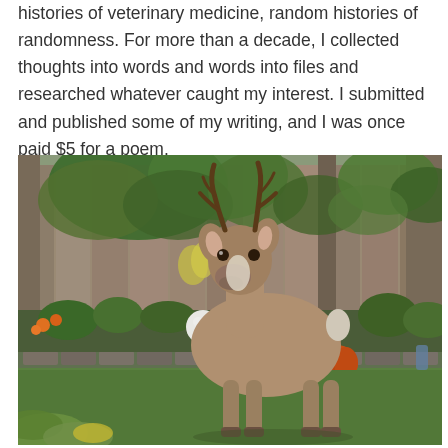histories of veterinary medicine, random histories of randomness. For more than a decade, I collected thoughts into words and words into files and researched whatever caught my interest. I submitted and published some of my writing, and I was once paid $5 for a poem.
[Figure (photo): A white-tailed deer buck standing in a suburban backyard garden, looking directly at the camera. Behind it is a wooden fence covered with green vines and foliage. There are garden beds with plants, a white sphere decoration, orange flowers, a pumpkin, and a small terracotta dish on the ground. The deer has antlers and a tan/grey coat. Green grass in the foreground.]